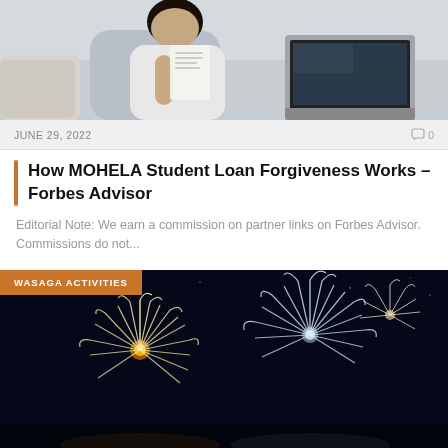[Figure (photo): Photo of a person sitting at a desk with a laptop, reading or writing documents. Light gray and neutral tones.]
JUNE 29, 2022
0
How MOHELA Student Loan Forgiveness Works – Forbes Advisor
Editorial Note: We earn a commission on partner links on Forbes Advisor. Commissions do not...
[Figure (photo): Fireworks display against a dark night sky with colorful bursting fireworks. Labeled WASAGA ACTIVITIES.]
WASAGA ACTIVITIES